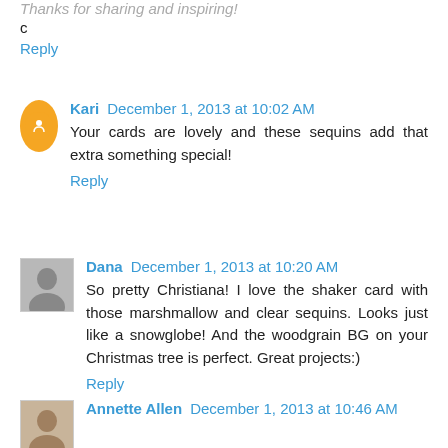Thanks for sharing and inspiring!
c
Reply
Kari December 1, 2013 at 10:02 AM
Your cards are lovely and these sequins add that extra something special!
Reply
Dana December 1, 2013 at 10:20 AM
So pretty Christiana! I love the shaker card with those marshmallow and clear sequins. Looks just like a snowglobe! And the woodgrain BG on your Christmas tree is perfect. Great projects:)
Reply
Annette Allen December 1, 2013 at 10:46 AM